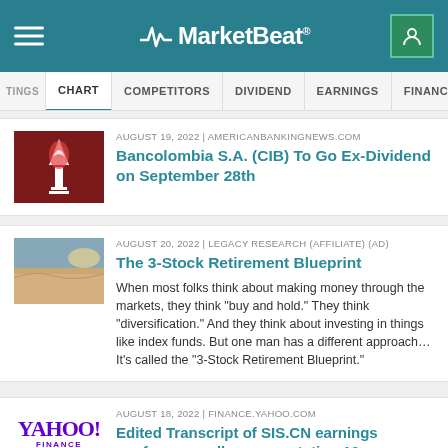MarketBeat
TINGS | CHART | COMPETITORS | DIVIDEND | EARNINGS | FINANCIALS | INSTITU
AUGUST 19, 2022 | AMERICANBANKINGNEWS.COM
Bancolombia S.A. (CIB) To Go Ex-Dividend on September 28th
AUGUST 20, 2022 | LEGACY RESEARCH (AFFILIATE) (AD)
The 3-Stock Retirement Blueprint
When most folks think about making money through the markets, they think “buy and hold.” They think “diversification.” And they think about investing in things like index funds. But one man has a different approach… It’s called the “3-Stock Retirement Blueprint.”
AUGUST 18, 2022 | FINANCE.YAHOO.COM
Edited Transcript of SIS.CN earnings conference call or presentation 16-